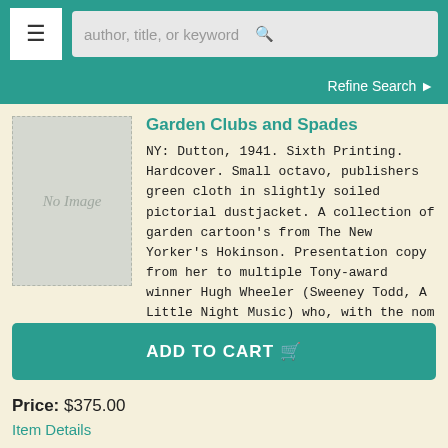author, title, or keyword [search bar] | Refine Search
[Figure (illustration): No Image placeholder thumbnail — grey rectangle with dashed border and italic 'No Image' text]
Garden Clubs and Spades
NY: Dutton, 1941. Sixth Printing. Hardcover. Small octavo, publishers green cloth in slightly soiled pictorial dustjacket. A collection of garden cartoon's from The New Yorker's Hokinson. Presentation copy from her to multiple Tony-award winner Hugh Wheeler (Sweeney Todd, A Little Night Music) who, with the nom de plume Patrick Quentin..... More ›
ADD TO CART
Price: $375.00
Item Details